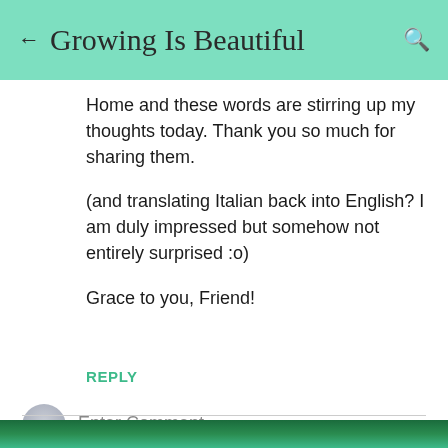← Growing Is Beautiful 🔍
Home and these words are stirring up my thoughts today. Thank you so much for sharing them.

(and translating Italian back into English? I am duly impressed but somehow not entirely surprised :o)

Grace to you, Friend!
REPLY
Enter Comment